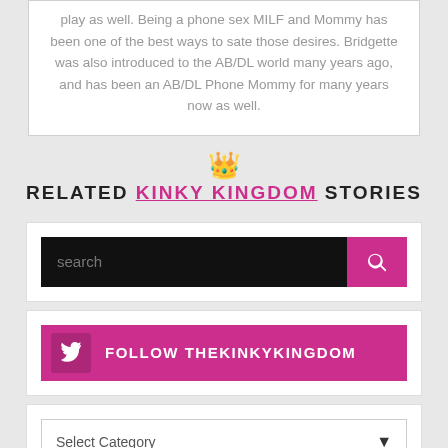play as well. Being a phone sex MILF and Mommy has been one of the best ways to sate those desires. Bridgette was also introduced to the AB/DL world many years ago, and has been an AB/DL Phone Mommy for many years now as well.
RELATED KINKY KINGDOM STORIES
[Figure (screenshot): Search bar with dark background and pink search button]
[Figure (screenshot): Pink Twitter follow bar with FOLLOW THEKINKYKINGDOM text]
[Figure (screenshot): Select Category dropdown]